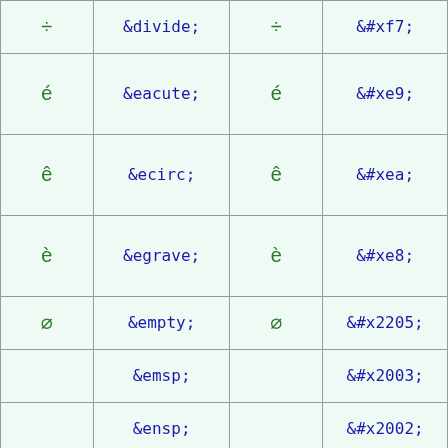| Symbol | Named Entity | Symbol | Hex Entity |
| --- | --- | --- | --- |
| ÷ | &divide; | ÷ | &#xf7; |
| é | &eacute; | é | &#xe9; |
| ê | &ecirc; | ê | &#xea; |
| è | &egrave; | è | &#xe8; |
| ∅ | &empty; | ∅ | &#x2205; |
|  | &emsp; |  | &#x2003; |
|  | &ensp; |  | &#x2002; |
| ε | &epsilon; | ε | &#x3b5; |
| ≡ | &equiv; | ≡ | &#x2261; |